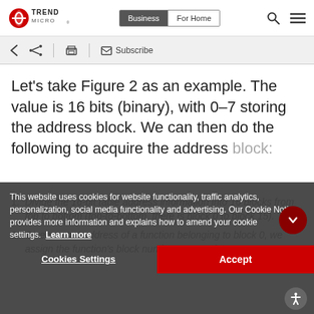[Figure (logo): Trend Micro logo with red circular icon and TREND MICRO text]
Business | For Home navigation bar with search and menu icons
Toolbar with back, share, print icons and Subscribe label
Let’s take Figure 2 as an example. The value is 16 bits (binary), with 0–7 storing the address block. We can then do the following to acquire the address block:
1. Divide the 16-bit table address information into 16 blocks from top to bottom (top-to-bottom, there is block 0 to block 15).
2. Given a start address of a function belonging to block 0, we assign the function’s block number to 0, and so on.
This website uses cookies for website functionality, traffic analytics, personalization, social media functionality and advertising. Our Cookie Notice provides more information and explains how to amend your cookie settings. Learn more
Cookies Settings | Accept